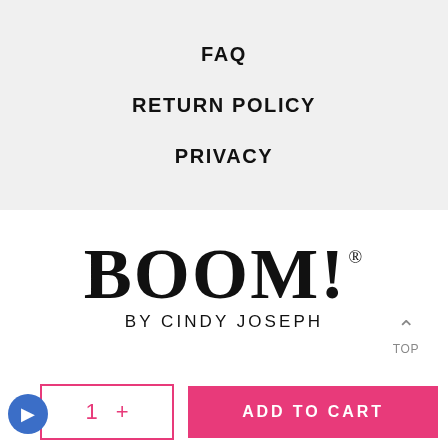FAQ
RETURN POLICY
PRIVACY
[Figure (logo): BOOM! BY CINDY JOSEPH brand logo in serif black text]
TOP
1  +  ADD TO CART